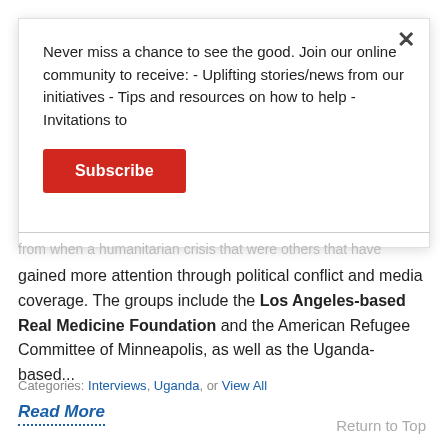Never miss a chance to see the good. Join our online community to receive: - Uplifting stories/news from our initiatives - Tips and resources on how to help - Invitations to
Subscribe
from when a humanitarian crisis that were others that have gained more attention through political conflict and media coverage. The groups include the Los Angeles-based Real Medicine Foundation and the American Refugee Committee of Minneapolis, as well as the Uganda-based...
Read More
Categories: Interviews, Uganda, or View All
Return to Top